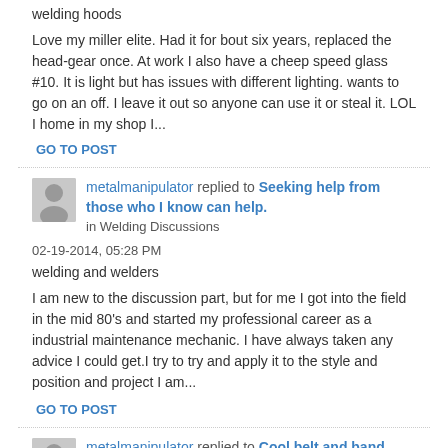welding hoods
Love my miller elite. Had it for bout six years, replaced the head-gear once. At work I also have a cheep speed glass #10. It is light but has issues with different lighting. wants to go on an off. I leave it out so anyone can use it or steal it. LOL I home in my shop I...
GO TO POST
metalmanipulator replied to Seeking help from those who I know can help. in Welding Discussions
02-19-2014, 05:28 PM
welding and welders
I am new to the discussion part, but for me I got into the field in the mid 80's and started my professional career as a industrial maintenance mechanic. I have always taken any advice I could get.I try to try and apply it to the style and position and project I am...
GO TO POST
metalmanipulator replied to Cool belt and band in Welding Discussions
08-09-2013, 10:49 AM
cool belt